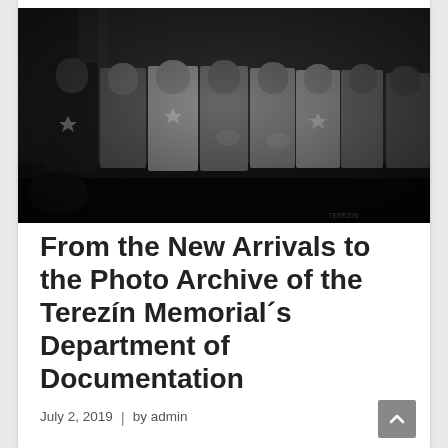[Figure (photo): Black and white historical photograph showing a group of people, some wearing Star of David badges, standing outdoors in what appears to be a wartime concentration camp setting.]
From the New Arrivals to the Photo Archive of the Terezín Memorial´s Department of Documentation
July 2, 2019  |  by admin